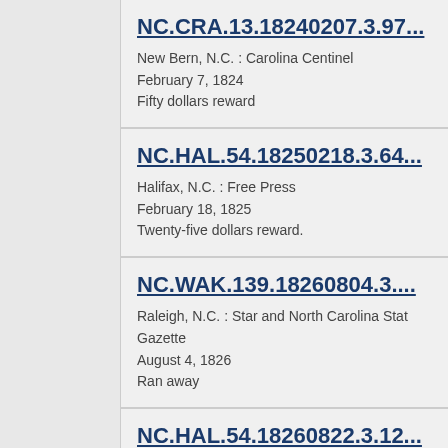NC.CRA.13.18240207.3.97...
New Bern, N.C. : Carolina Centinel
February 7, 1824
Fifty dollars reward
NC.HAL.54.18250218.3.64...
Halifax, N.C. : Free Press
February 18, 1825
Twenty-five dollars reward.
NC.WAK.139.18260804.3....
Raleigh, N.C. : Star and North Carolina State Gazette
August 4, 1826
Ran away
NC.HAL.54.18260822.3.12...